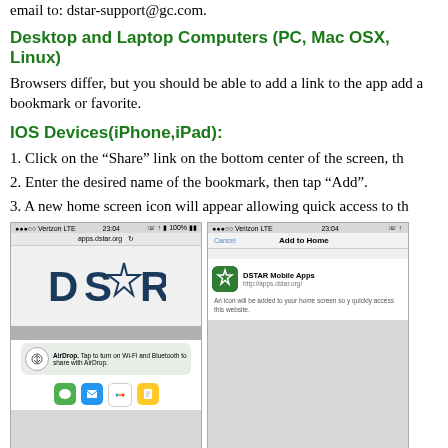email to: dstar-support@gc.com.
Desktop and Laptop Computers (PC, Mac OSX, Linux)
Browsers differ, but you should be able to add a link to the app add a bookmark or favorite.
IOS Devices(iPhone,iPad):
1. Click on the “Share” link on the bottom center of the screen, th
2. Enter the desired name of the bookmark, then tap “Add”.
3. A new home screen icon will appear allowing quick access to th
[Figure (screenshot): Two iOS screenshots showing how to add DSTAR Mobile Apps to home screen. Left screenshot shows apps.dstar.org in browser with AirDrop share sheet. Right screenshot shows Add to Home dialog with DSTAR Mobile Apps icon and http://apps.dstar.org/ URL.]